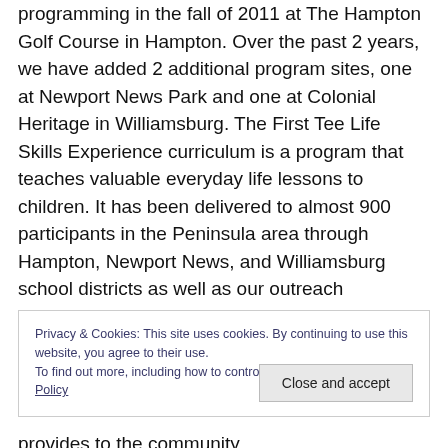programming in the fall of 2011 at The Hampton Golf Course in Hampton. Over the past 2 years, we have added 2 additional program sites, one at Newport News Park and one at Colonial Heritage in Williamsburg. The First Tee Life Skills Experience curriculum is a program that teaches valuable everyday life lessons to children. It has been delivered to almost 900 participants in the Peninsula area through Hampton, Newport News, and Williamsburg school districts as well as our outreach programs.
Privacy & Cookies: This site uses cookies. By continuing to use this website, you agree to their use. To find out more, including how to control cookies, see here: Cookie Policy
Close and accept
provides to the community.